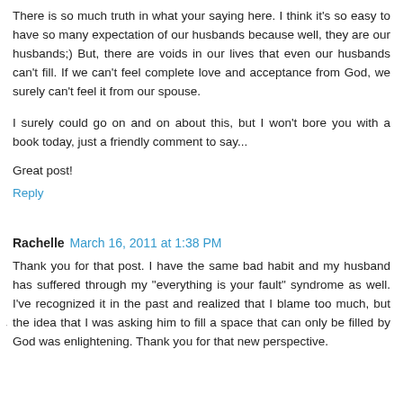There is so much truth in what your saying here. I think it's so easy to have so many expectation of our husbands because well, they are our husbands;) But, there are voids in our lives that even our husbands can't fill. If we can't feel complete love and acceptance from God, we surely can't feel it from our spouse.
I surely could go on and on about this, but I won't bore you with a book today, just a friendly comment to say...
Great post!
Reply
Rachelle  March 16, 2011 at 1:38 PM
Thank you for that post. I have the same bad habit and my husband has suffered through my "everything is your fault" syndrome as well. I've recognized it in the past and realized that I blame too much, but the idea that I was asking him to fill a space that can only be filled by God was enlightening. Thank you for that new perspective.